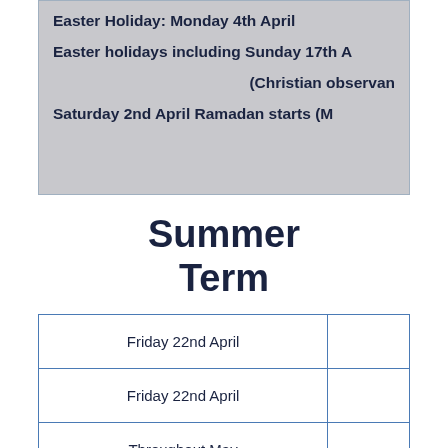Easter Holiday: Monday 4th April
Easter holidays including Sunday 17th A
(Christian observan
Saturday 2nd April Ramadan starts (M
Summer Term
|  |  |
| --- | --- |
| Friday 22nd April |  |
| Friday 22nd April |  |
| Throughout May |  |